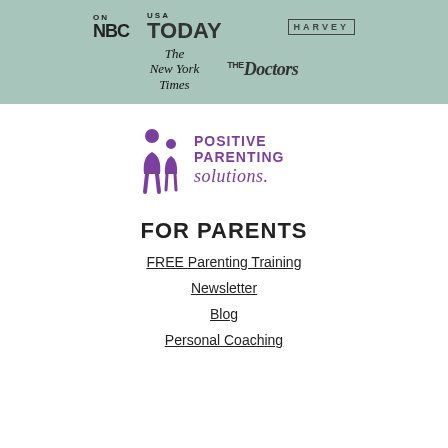[Figure (logo): Media logos on teal/sage green band: NBC, TODAY, HARVEY, The New York Times, The Doctors]
[Figure (logo): Positive Parenting Solutions logo with purple figure and wordmark]
FOR PARENTS
FREE Parenting Training
Newsletter
Blog
Personal Coaching